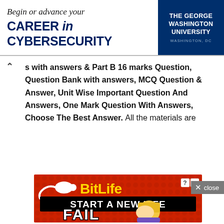[Figure (screenshot): George Washington University cybersecurity banner ad. Text reads 'Begin or advance your CAREER in CYBERSECURITY' with GWU logo on right side showing 'THE GEORGE WASHINGTON UNIVERSITY WASHINGTON, DC']
s with answers & Part B 16 marks Question, Question Bank with answers, MCQ Question & Answer, Unit Wise Important Question And Answers, One Mark Question With Answers, Choose The Best Answer. All the materials are
[Figure (screenshot): BitLife game advertisement with red background. Shows sperm logo, 'BitLife' in yellow text, 'START A NEW LIFE' in white on black banner, 'FAIL' text with cartoon character of blonde girl facepalming. Has close (X) and info (?) buttons.]